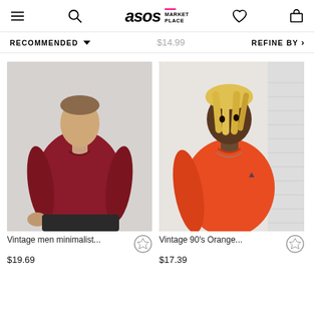ASOS MARKETPLACE
RECOMMENDED ▼    $14.99    REFINE BY >
[Figure (photo): Man wearing a dark red/burgundy long-sleeve polo shirt against a light grey background. Product: Vintage men minimalist...]
[Figure (photo): Man with blonde dreadlocks wearing an orange polo shirt against a white background. Product: Vintage 90's Orange...]
Vintage men minimalist...
Vintage 90's Orange...
$19.69
$17.39